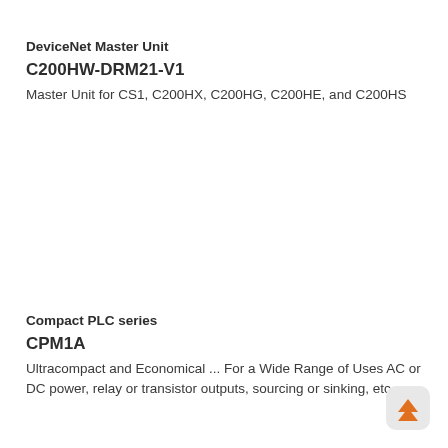DeviceNet Master Unit
C200HW-DRM21-V1
Master Unit for CS1, C200HX, C200HG, C200HE, and C200HS
Compact PLC series
CPM1A
Ultracompact and Economical ... For a Wide Range of Uses AC or DC power, relay or transistor outputs, sourcing or sinking, etc.